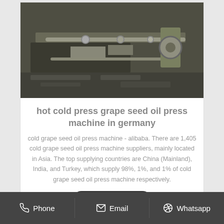[Figure (photo): Industrial oil press machine with metal rollers and mechanical components]
hot cold press grape seed oil press machine in germany
cold grape seed oil press machine - alibaba. There are 1,405 cold grape seed oil press machine suppliers, mainly located in Asia. The top supplying countries are China (Mainland), India, and Turkey, which supply 98%, 1%, and 1% of cold grape seed oil press machine respectively.
Get Price
[Figure (photo): Industrial press machine in a factory setting, white machinery visible]
Phone   Email   Whatsapp